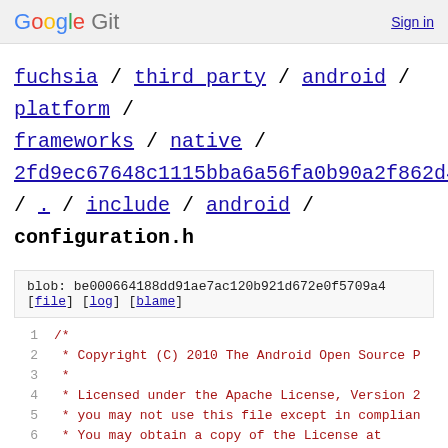Google Git   Sign in
fuchsia / third_party / android / platform / frameworks / native / 2fd9ec67648c1115bba6a56fa0b90a2f862d419d / . / include / android / configuration.h
blob: be000664188dd91ae7ac120b921d672e0f5709a4
[file] [log] [blame]
1  /*
2   * Copyright (C) 2010 The Android Open Source P
3   *
4   * Licensed under the Apache License, Version 2
5   * you may not use this file except in complian
6   * You may obtain a copy of the License at
7   *
8   *      http://www.apache.org/licenses/LICENSE-